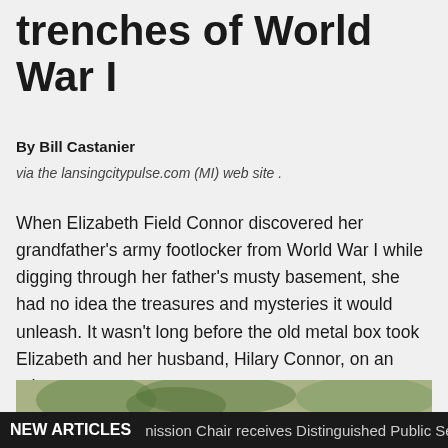trenches of World War I
By Bill Castanier
via the lansingcitypulse.com (MI) web site .
When Elizabeth Field Connor discovered her grandfather's army footlocker from World War I while digging through her father's musty basement, she had no idea the treasures and mysteries it would unleash. It wasn't long before the old metal box took Elizabeth and her husband, Hilary Connor, on an adventure.
[Figure (photo): Historical black and white photograph, appears to show a person outdoors with foliage in background]
NEW ARTICLES   nission Chair receives Distinguished Public Ser